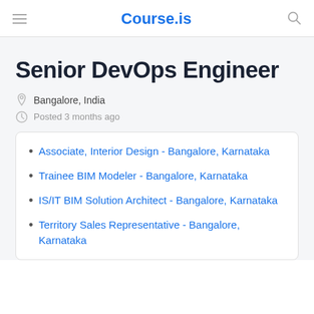Course.is
Senior DevOps Engineer
Bangalore, India
Posted 3 months ago
Associate, Interior Design - Bangalore, Karnataka
Trainee BIM Modeler - Bangalore, Karnataka
IS/IT BIM Solution Architect - Bangalore, Karnataka
Territory Sales Representative - Bangalore, Karnataka